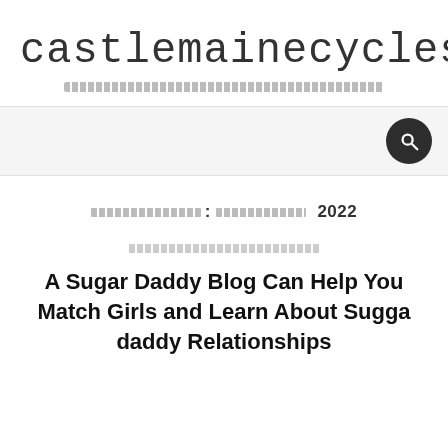castlemainecycles
АРХИВ: ОКТЯБРЬ 2022
Uncategorized
A Sugar Daddy Blog Can Help You Match Girls and Learn About Sugga daddy Relationships